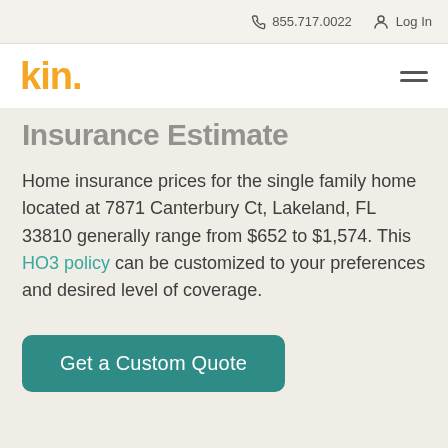855.717.0022  Log In
kin.
Insurance Estimate
Home insurance prices for the single family home located at 7871 Canterbury Ct, Lakeland, FL 33810 generally range from $652 to $1,574. This HO3 policy can be customized to your preferences and desired level of coverage.
Get a Custom Quote